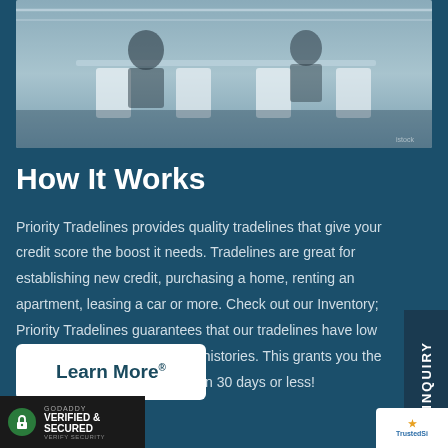[Figure (photo): Office or conference setting with chairs and tables, people in background, partially visible]
How It Works
Priority Tradelines provides quality tradelines that give your credit score the boost it needs. Tradelines are great for establishing new credit, purchasing a home, renting an apartment, leasing a car or more. Check out our Inventory; Priority Tradelines guarantees that our tradelines have low utilization and excellent credit histories. This grants you the greatest possible score boost in 30 days or less!
[Figure (other): Learn More button with registered trademark symbol]
[Figure (logo): GoDaddy Verified & Secured badge with lock icon]
[Figure (logo): TrustedSite badge, partially visible]